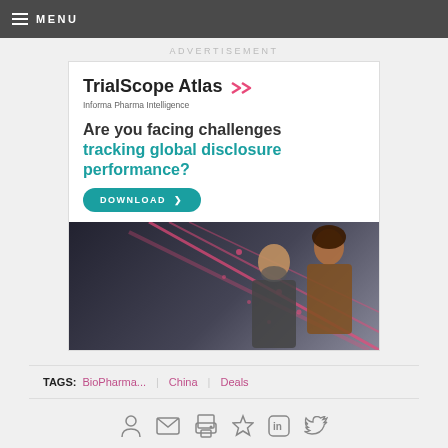MENU
ADVERTISEMENT
[Figure (illustration): TrialScope Atlas advertisement banner by Informa Pharma Intelligence. Headline: 'Are you facing challenges tracking global disclosure performance?' with a DOWNLOAD button and a photo of two people collaborating with pink diagonal lines overlay.]
TAGS: BioPharma... | China | Deals
[Figure (infographic): Row of social/share icons: person, envelope, printer, bookmark star, LinkedIn, Twitter]